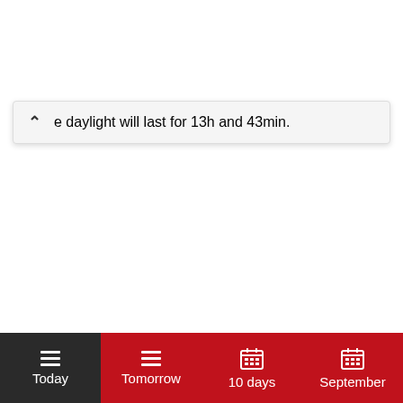e daylight will last for 13h and 43min.
[Figure (screenshot): Mobile app bottom navigation bar with four tabs: Today (active, dark background), Tomorrow, 10 days, September — each with a hamburger or calendar icon above the label, on a red background.]